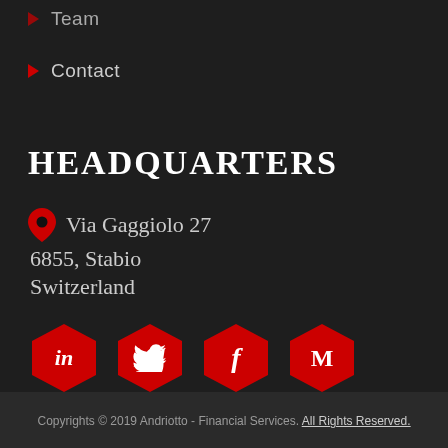Team
Contact
HEADQUARTERS
Via Gaggiolo 27
6855, Stabio
Switzerland
[Figure (other): Social media icons: LinkedIn, Twitter, Facebook, Medium — red hexagon buttons]
Copyrights © 2019 Andriotto - Financial Services. All Rights Reserved.